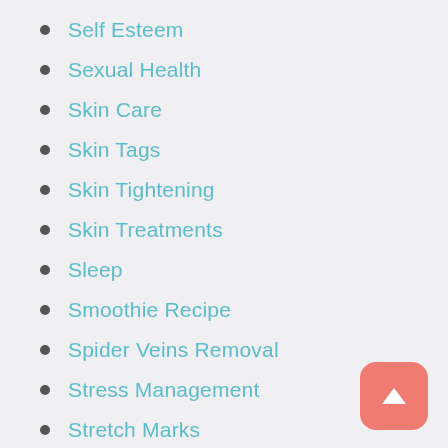Self Esteem
Sexual Health
Skin Care
Skin Tags
Skin Tightening
Skin Treatments
Sleep
Smoothie Recipe
Spider Veins Removal
Stress Management
Stretch Marks
Tattoo Removal
Testosterone